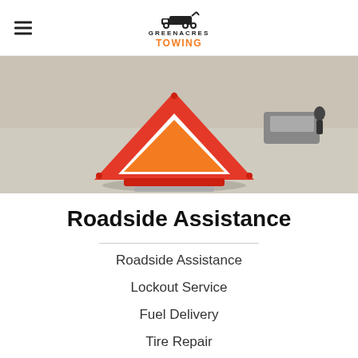GREENACRES TOWING
[Figure (photo): A red and orange triangular warning sign placed on a road, with a car and person visible in the background.]
Roadside Assistance
Roadside Assistance
Lockout Service
Fuel Delivery
Tire Repair